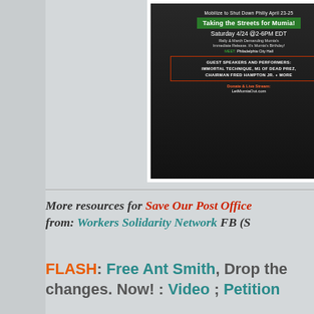[Figure (photo): Event flyer for 'Taking the Streets for Mumia!' rally on Saturday 4/24 @2-6PM EDT at Philadelphia City Hall. Dark background with crowd image. Guest speakers: Immortal Technique, M1 of Dead Prez, Chairman Fred Hampton Jr. + More. Donate & Live Stream at LetMumiaOut.com. Mobilize to Shut Down Philly April 23-25.]
More resources for Save Our Post Office from: Workers Solidarity Network FB (S...
FLASH: Free Ant Smith, Drop the changes. Now! : Video ; Petition